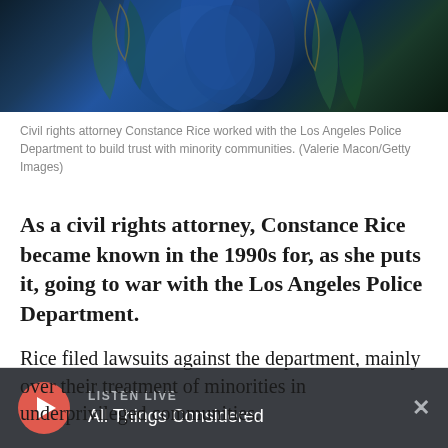[Figure (photo): Photo of a person (Constance Rice) wearing blue floral-patterned clothing against a dark background]
Civil rights attorney Constance Rice worked with the Los Angeles Police Department to build trust with minority communities. (Valerie Macon/Getty Images)
As a civil rights attorney, Constance Rice became known in the 1990s for, as she puts it, going to war with the Los Angeles Police Department.
Rice filed lawsuits against the department, mainly over their treatment of minorities in underprivileged communities.
LISTEN LIVE All Things Considered